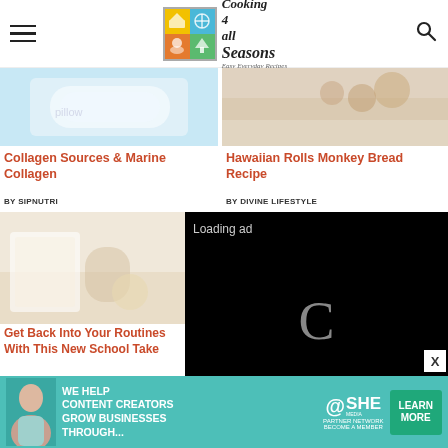[Figure (logo): Cooking 4 All Seasons logo with colored grid and script text, search icon and hamburger menu]
[Figure (photo): Collagen Sources article thumbnail - white pillow/bedding on blue background]
Collagen Sources & Marine Collagen
BY SIPNUTRI
[Figure (photo): Hawaiian Rolls Monkey Bread Recipe thumbnail - food on white plate]
Hawaiian Rolls Monkey Bread Recipe
BY DIVINE LIFESTYLE
[Figure (photo): Get Back Into Your Routines article thumbnail - bedroom interior]
Get Back Into Your Routines With This New School Take
[Figure (screenshot): Loading ad video overlay with spinner, pause, expand, and mute controls on black background. Text: Loading ad]
OREO Cheesecake Cookies
BY DIVINE LIFESTYLE
[Figure (infographic): SHE Partner Network advertisement banner in teal: WE HELP CONTENT CREATORS GROW BUSINESSES THROUGH... with LEARN MORE button]